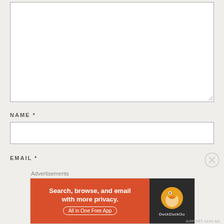[Figure (screenshot): Large empty text area input box with resize handle at bottom right]
NAME *
[Figure (screenshot): Single-line text input field for Name]
EMAIL *
[Figure (screenshot): Advertisement overlay: DuckDuckGo banner ad with text 'Search, browse, and email with more privacy. All in One Free App' on orange background with DuckDuckGo logo on dark background]
AIRPORT-1145-AO